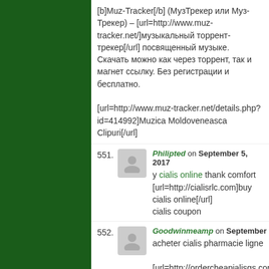[b]Muz-Tracker[/b] (МузТрекер или Муз-Трекер) – [url=http://www.muz-tracker.net/]музыкальный торрент-трекер[/url] посвященный музыке. Скачать можно как через торрент, так и магнет ссылку. Без регистрации и бесплатно.

[url=http://www.muz-tracker.net/details.php?id=414992]Muzica Moldoveneasca Clipuri[/url]
551. Philipted on September 5, 2017
y cialis online thank comfort [url=http://cialisrlc.com]buy cialis online[/url]
cialis coupon
552. Goodwinmeamp on September 5, 2017
acheter cialis pharmacie ligne

[url=http://ordercheapialisgs.com/]cialis cheap[/url]